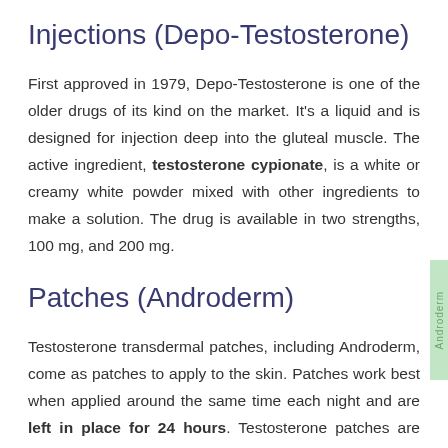Injections (Depo-Testosterone)
First approved in 1979, Depo-Testosterone is one of the older drugs of its kind on the market. It's a liquid and is designed for injection deep into the gluteal muscle. The active ingredient, testosterone cypionate, is a white or creamy white powder mixed with other ingredients to make a solution. The drug is available in two strengths, 100 mg, and 200 mg.
Patches (Androderm)
Testosterone transdermal patches, including Androderm, come as patches to apply to the skin. Patches work best when applied around the same time each night and are left in place for 24 hours. Testosterone patches are meant to be worn at all times until replaced with new patches. Androderm patches